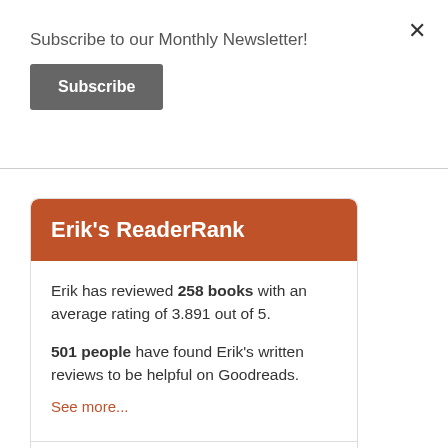Subscribe to our Monthly Newsletter!
Subscribe
Erik's ReaderRank
Erik has reviewed 258 books with an average rating of 3.891 out of 5.
501 people have found Erik's written reviews to be helpful on Goodreads.
See more...
⭐ Top 10% in readers helped